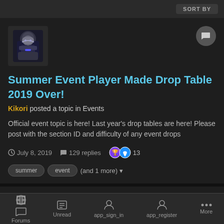SORT BY
[Figure (photo): Avatar image of user Kikori - character in dark outfit]
Summer Event Player Made Drop Table 2019 Over!
Kikori posted a topic in Events
Official event topic is here! Last year's drop tables are here! Please post with the section ID and difficulty of any event drops
July 8, 2019   129 replies   13
summer   event   (and 1 more)
[Figure (photo): Avatar image of second user - colorful character]
Ultima Summer Event 2019
Forums   Unread   app_sign_in   app_register   More